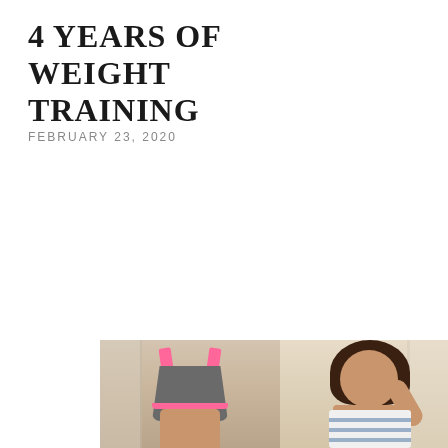4 YEARS OF WEIGHT TRAINING
FEBRUARY 23, 2020
[Figure (photo): Before and after comparison photos of a woman showing results of 4 years of weight training. Left photo shows the woman from the front wearing a gray sports bra with pink trim and gray shorts. Right photo shows the woman flexing her arm, smiling, wearing a striped bandeau top and striped bikini bottom.]